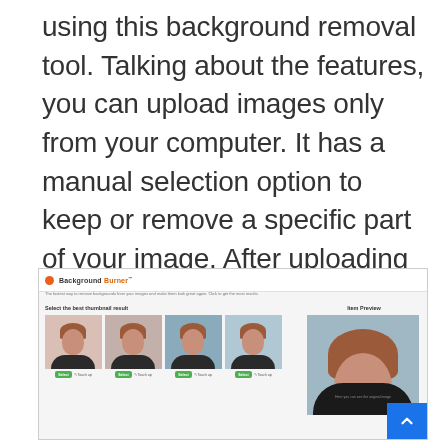using this background removal tool. Talking about the features, you can upload images only from your computer. It has a manual selection option to keep or remove a specific part of your image. After uploading an image, it shows three or four different versions of your image, and you can choose one among them.
[Figure (screenshot): Screenshot of Background Burner website showing thumbnail selection panel with four versions of a woman's photo with background removed, and a large preview panel on the right with a scroll-to-top button.]